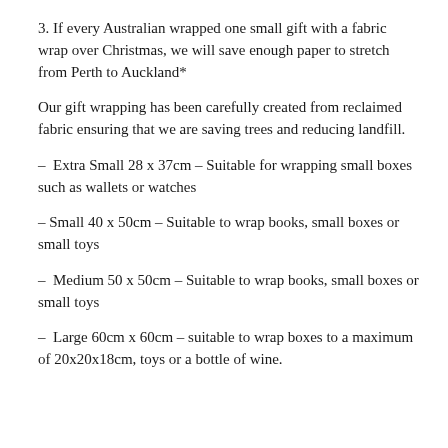3. If every Australian wrapped one small gift with a fabric wrap over Christmas, we will save enough paper to stretch from Perth to Auckland*
Our gift wrapping has been carefully created from reclaimed fabric ensuring that we are saving trees and reducing landfill.
– Extra Small 28 x 37cm – Suitable for wrapping small boxes such as wallets or watches
– Small 40 x 50cm – Suitable to wrap books, small boxes or small toys
– Medium 50 x 50cm – Suitable to wrap books, small boxes or small toys
– Large 60cm x 60cm – suitable to wrap boxes to a maximum of 20x20x18cm, toys or a bottle of wine.